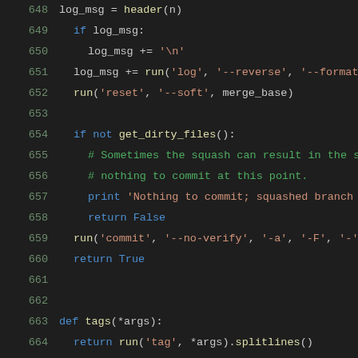[Figure (screenshot): Python source code snippet showing lines 649-669 of a script. Code includes conditional branches, function calls like run(), get_dirty_files(), tags(), thaw(), with syntax highlighting on a dark background. Line numbers shown in green on left margin.]